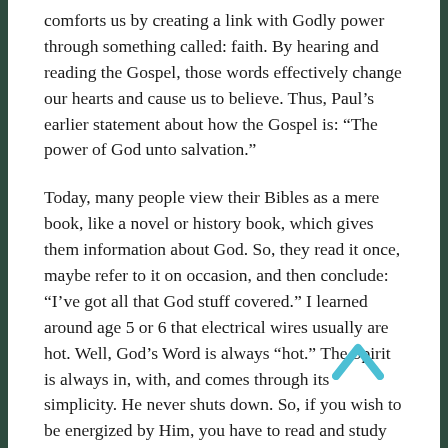comforts us by creating a link with Godly power through something called: faith. By hearing and reading the Gospel, those words effectively change our hearts and cause us to believe. Thus, Paul’s earlier statement about how the Gospel is: “The power of God unto salvation.”
Today, many people view their Bibles as a mere book, like a novel or history book, which gives them information about God. So, they read it once, maybe refer to it on occasion, and then conclude: “I’ve got all that God stuff covered.” I learned around age 5 or 6 that electrical wires usually are hot. Well, God’s Word is always “hot.” The Spirit is always in, with, and comes through its simplicity. He never shuts down. So, if you wish to be energized by Him, you have to read and study it. Likewise, His Gospel is found in baptism, holy communion and also absolution. So, if you wish to
[Figure (illustration): A cyan/teal upward-pointing chevron arrow icon, indicating scroll to top.]